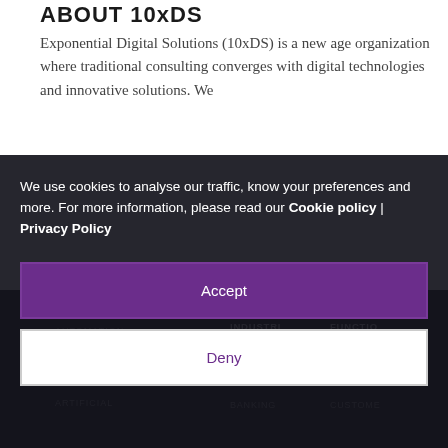ABOUT 10xDS
Exponential Digital Solutions (10xDS) is a new age organization where traditional consulting converges with digital technologies and innovative solutions. We
We use cookies to analyse our traffic, know your preferences and more. For more information, please read our Cookie policy | Privacy Policy
Accept
Deny
INTELLIGENT AUTOMATION
ANALYTICS
ARTIFICIAL
INDUSTRIES
FUNCTIONS
BANKING
CUSTOME